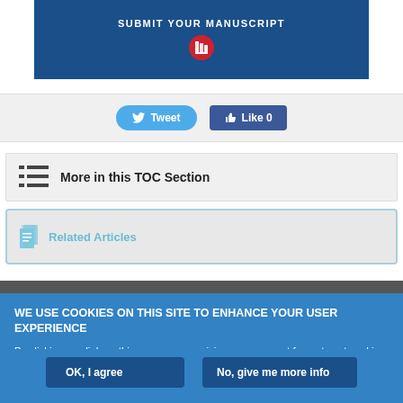[Figure (other): Blue banner with 'SUBMIT YOUR MANUSCRIPT' text and a red circular icon with a graphic]
[Figure (other): Social sharing bar with Tweet button and Like 0 button]
More in this TOC Section
Related Articles
WE USE COOKIES ON THIS SITE TO ENHANCE YOUR USER EXPERIENCE
By clicking any link on this page you are giving your consent for us to set cookies.
OK, I agree
No, give me more info